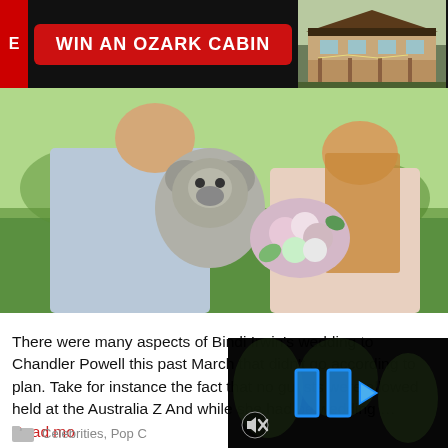[Figure (screenshot): Advertisement banner: dark background with red E logo, red button reading 'WIN AN OZARK CABIN', and image of a cabin/lodge on the right]
[Figure (photo): Couple holding a koala bear, woman holding flowers, outdoors with green background]
There were many aspects of Bindi Irwin's wedding to Chandler Powell this past March that didn't go according to plan. Take for instance the fact that no guests were allowed held at the Australia Z And while she had be wedding … Read mo
[Figure (screenshot): Dark video player overlay with blue play icon (two triangles) and mute icon, overlapping the article text]
Celebrities, Pop C